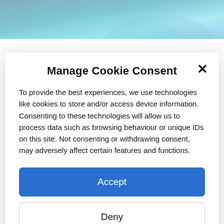[Figure (screenshot): Website header with blue/teal gradient background]
Manage Cookie Consent
To provide the best experiences, we use technologies like cookies to store and/or access device information. Consenting to these technologies will allow us to process data such as browsing behaviour or unique IDs on this site. Not consenting or withdrawing consent, may adversely affect certain features and functions.
Accept
Deny
View preferences
Cookie Policy   Privacy & Cookie Policy, Terms of Use
Fundraising News : Made by Sport